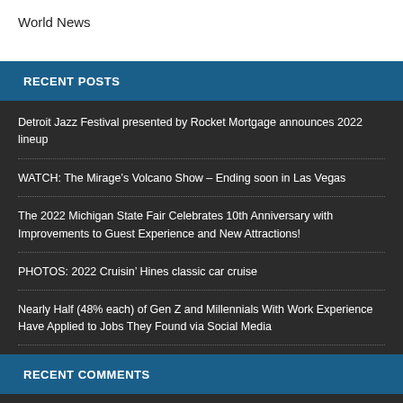World News
RECENT POSTS
Detroit Jazz Festival presented by Rocket Mortgage announces 2022 lineup
WATCH: The Mirage’s Volcano Show – Ending soon in Las Vegas
The 2022 Michigan State Fair Celebrates 10th Anniversary with Improvements to Guest Experience and New Attractions!
PHOTOS: 2022 Cruisin’ Hines classic car cruise
Nearly Half (48% each) of Gen Z and Millennials With Work Experience Have Applied to Jobs They Found via Social Media
RECENT COMMENTS
Willy Devries on GALLERY: 2022 EyesOn Design Car Show at Edsel S...